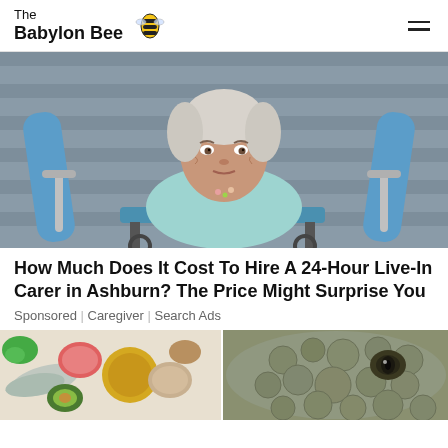The Babylon Bee
[Figure (photo): Elderly woman in light blue knit sweater seated in a wheelchair, being pushed by a caregiver in blue clothing. Background shows gray horizontal siding.]
How Much Does It Cost To Hire A 24-Hour Live-In Carer in Ashburn? The Price Might Surprise You
Sponsored | Caregiver | Search Ads
[Figure (photo): Overhead flat lay of various foods including fish, shrimp, olive oil, avocado, and seeds on a white background — omega-3 rich foods.]
[Figure (photo): Close-up of a large reptile (lizard or crocodile) with textured scaly skin and a large eye visible.]